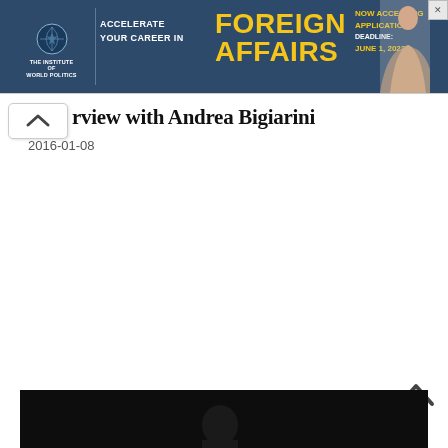[Figure (other): Advertisement banner for The Institute of World Politics — 'Accelerate Your Career in Foreign Affairs' — Now Accepting Applications, Deadline June 1, 2022]
rview with Andrea Biglalini
2016-01-08